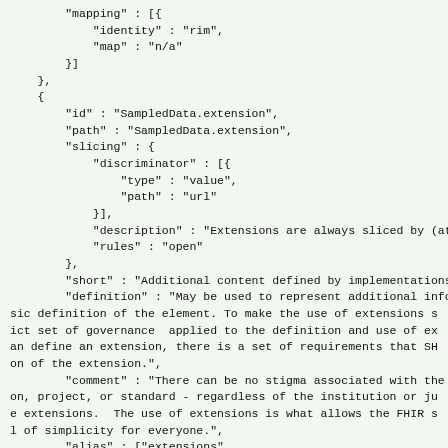JSON/FHIR code block showing mapping, SampledData.extension, slicing, discriminator, description, rules, short, definition, comment, alias, min fields